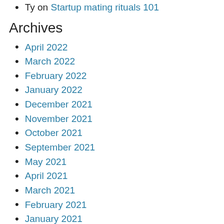Ty on Startup mating rituals 101
Archives
April 2022
March 2022
February 2022
January 2022
December 2021
November 2021
October 2021
September 2021
May 2021
April 2021
March 2021
February 2021
January 2021
December 2020
November 2020
October 2020
September 2020
August 2020
June 2020